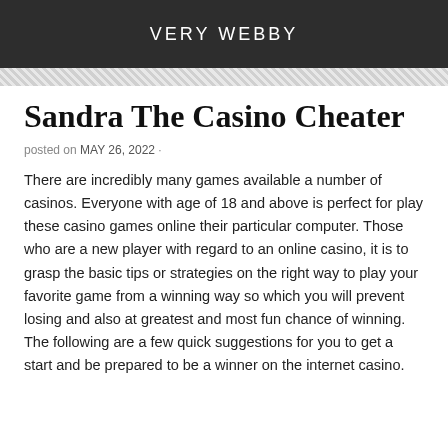VERY WEBBY
Sandra The Casino Cheater
posted on MAY 26, 2022 ·
There are incredibly many games available a number of casinos. Everyone with age of 18 and above is perfect for play these casino games online their particular computer. Those who are a new player with regard to an online casino, it is to grasp the basic tips or strategies on the right way to play your favorite game from a winning way so which you will prevent losing and also at greatest and most fun chance of winning. The following are a few quick suggestions for you to get a start and be prepared to be a winner on the internet casino.